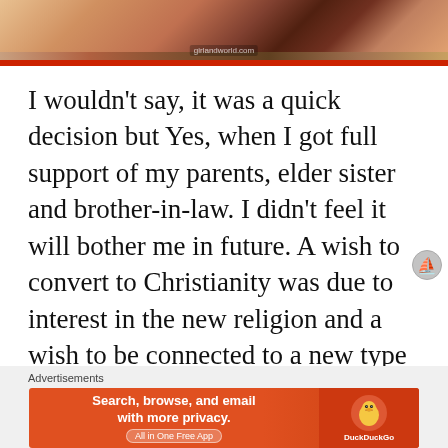[Figure (photo): A photograph of people in Indian traditional attire, with red and gold clothing, at what appears to be a wedding or festive occasion. Website watermark 'girlandworld.com' visible.]
I wouldn't say, it was a quick decision but Yes, when I got full support of my parents, elder sister and brother-in-law. I didn't feel it will bother me in future. A wish to convert to Christianity was due to interest in the new religion and a wish to be connected to a new type of thinking.
Advertisements
[Figure (screenshot): DuckDuckGo advertisement banner with orange background. Text reads: 'Search, browse, and email with more privacy. All in One Free App' with DuckDuckGo logo on the right side.]